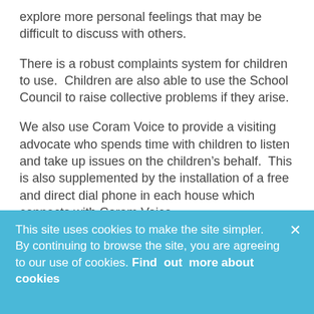explore more personal feelings that may be difficult to discuss with others.
There is a robust complaints system for children to use.  Children are also able to use the School Council to raise collective problems if they arise.
We also use Coram Voice to provide a visiting advocate who spends time with children to listen and take up issues on the children’s behalf.  This is also supplemented by the installation of a free and direct dial phone in each house which connects with Coram Voice.
The Childline telephone number is also prominently displayed in one of the main areas of
This site uses cookies to make the site simpler. By continuing to browse the site, you are agreeing to our use of cookies. Find out more about cookies